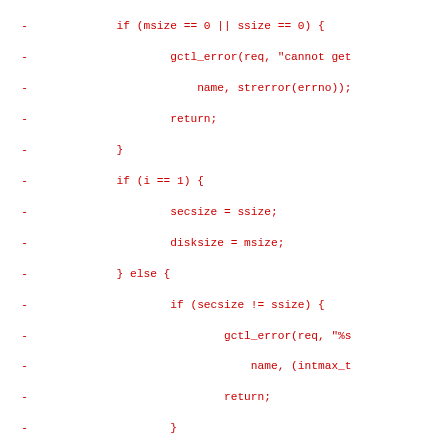Diff/patch code block showing removed lines in red, C source code for disk geometry validation and metadata generation